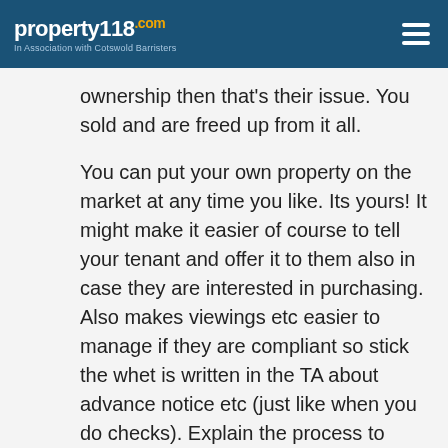property118 .com | In Association with Cotswold Barristers
ownership then that's their issue. You sold and are freed up from it all.
You can put your own property on the market at any time you like. Its yours! It might make it easier of course to tell your tenant and offer it to them also in case they are interested in purchasing. Also makes viewings etc easier to manage if they are compliant so stick the whet is written in the TA about advance notice etc (just like when you do checks). Explain the process to them, that a board will be going up etc. As long as they are aware, most GOOD tenants will take this as part